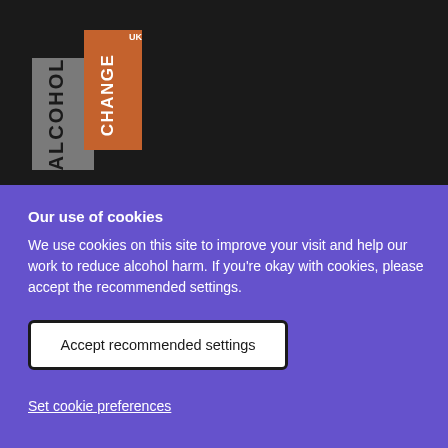[Figure (logo): Alcohol Change UK logo — rotated text reading 'ALCOHOL' in grey and 'CHANGE UK' in orange/white, displayed vertically on a dark background]
Our use of cookies
We use cookies on this site to improve your visit and help our work to reduce alcohol harm. If you're okay with cookies, please accept the recommended settings.
Accept recommended settings
Set cookie preferences